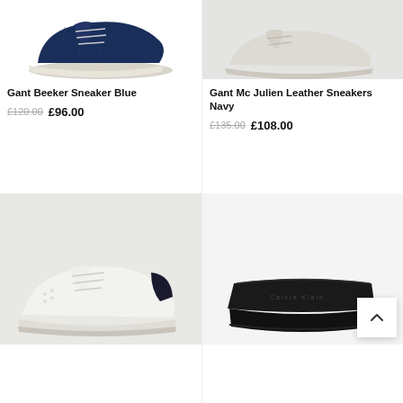[Figure (photo): Gant Beeker Sneaker Blue - blue mesh running shoe partially visible at top]
Gant Beeker Sneaker Blue
£120.00 £96.00
[Figure (photo): Gant Mc Julien Leather Sneakers Navy - white/grey leather sneaker on light background]
Gant Mc Julien Leather Sneakers Navy
£135.00 £108.00
[Figure (photo): White leather sneaker with navy heel tab on grey background]
[Figure (photo): Black slide sandal with logo strap on light background]